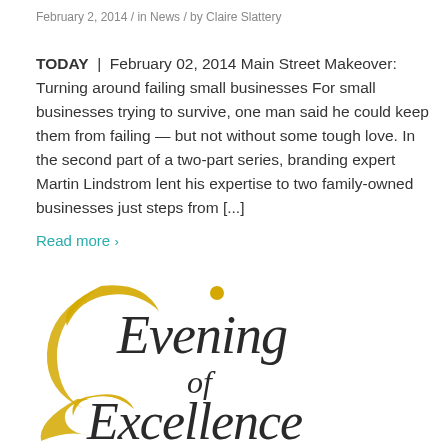February 2, 2014 / in News / by Claire Slattery
TODAY | February 02, 2014 Main Street Makeover: Turning around failing small businesses For small businesses trying to survive, one man said he could keep them from failing — but not without some tough love. In the second part of a two-part series, branding expert Martin Lindstrom lent his expertise to two family-owned businesses just steps from [...]
Read more >
[Figure (logo): Evening of Excellence logo in gold/yellow and dark gray italic script font]